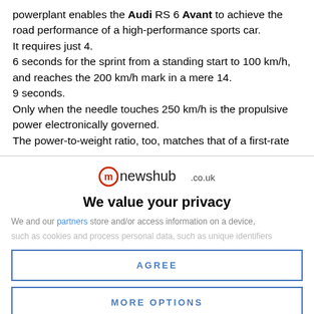powerplant enables the Audi RS 6 Avant to achieve the road performance of a high-performance sports car. It requires just 4.
6 seconds for the sprint from a standing start to 100 km/h, and reaches the 200 km/h mark in a mere 14.
9 seconds.
Only when the needle touches 250 km/h is the propulsive power electronically governed.
The power-to-weight ratio, too, matches that of a first-rate
[Figure (logo): newshub.co.uk logo with red circle/M icon]
We value your privacy
We and our partners store and/or access information on a device, such as cookies and process personal data, such as unique identifiers
AGREE
MORE OPTIONS